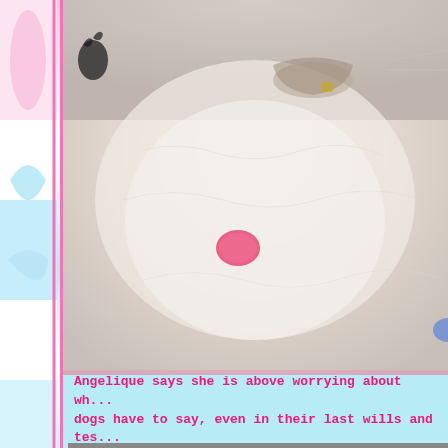[Figure (photo): Close-up photo of a white fluffy cat's belly/chest fur with a small pink dot or marking visible in the center. The cat appears to be wearing a collar. The photo is taken from above looking down at the cat.]
Angelique says she is above worrying about wh... dogs have to say, even in their last wills and tes...
[Figure (photo): Partial photo of a cat, appears to show a cat's head or upper body with blurred background showing colorful objects.]